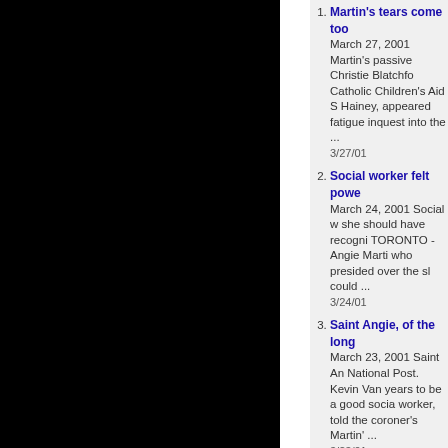1. Martin's tears come too... March 27, 2001 Martin's passive Christie Blatchfc Catholic Children's Aid S Hainey, appeared fatigue inquest into the ... 3/27/01
2. Social worker felt powe... March 24, 2001 Social w she should have recogni TORONTO - Angie Marti who presided over the sl could ... 3/24/01
3. Saint Angie, of the long... March 23, 2001 Saint An National Post. Kevin Van years to be a good socia worker, told the coroner's Martin' ... 3/23/01
4. Is this the road to Tars... March 22, 2001 Is this th to air issues that vex the Redman, National Post A did John Ralston Saul le off my des ... 3/22/01
5. Baby's legal protector... March 22, 2001 Baby's...